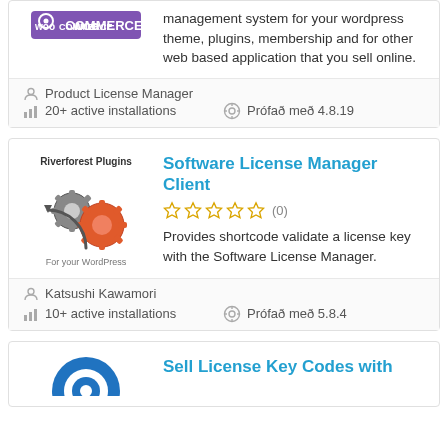[Figure (logo): WooCommerce logo (partial top card)]
management system for your wordpress theme, plugins, membership and for other web based application that you sell online.
Product License Manager
20+ active installations
Prófað með 4.8.19
[Figure (logo): Riverforest Plugins logo with gears]
Software License Manager Client
(0) — zero star rating
Provides shortcode validate a license key with the Software License Manager.
Katsushi Kawamori
10+ active installations
Prófað með 5.8.4
[Figure (logo): Blue circular logo (partial bottom card)]
Sell License Key Codes with